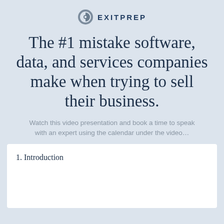ExitPrep
The #1 mistake software, data, and services companies make when trying to sell their business.
Watch this video presentation and book a time to speak with an expert using the calendar under the video…
1. Introduction